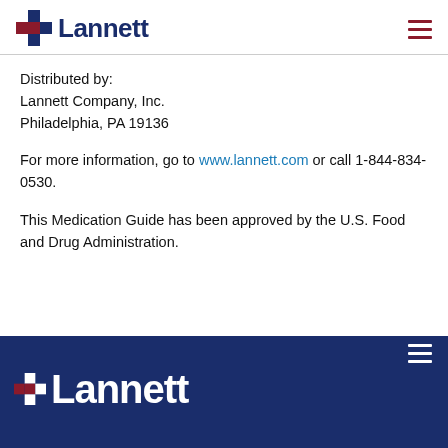Lannett
Distributed by:
Lannett Company, Inc.
Philadelphia, PA 19136
For more information, go to www.lannett.com or call 1-844-834-0530.
This Medication Guide has been approved by the U.S. Food and Drug Administration.